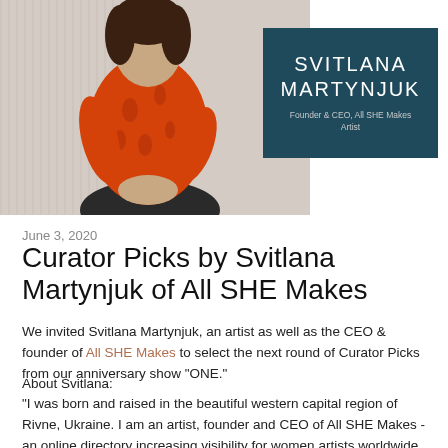[Figure (photo): Photo of Svitlana Martynjuk wearing an orange floral top, seated, with a dark teal name card overlay showing 'SVITLANA MARTYNJUK, Founder & CEO, All SHE Makes, Artist']
June 3, 2020
Curator Picks by Svitlana Martynjuk of All SHE Makes
We invited Svitlana Martynjuk, an artist as well as the CEO & founder of All SHE Makes to select the next round of Curator Picks from our anniversary show "ONE."
About Svitlana:
"I was born and raised in the beautiful western capital region of Rivne, Ukraine. I am an artist, founder and CEO of All SHE Makes - an online directory increasing visibility for women artists worldwide.